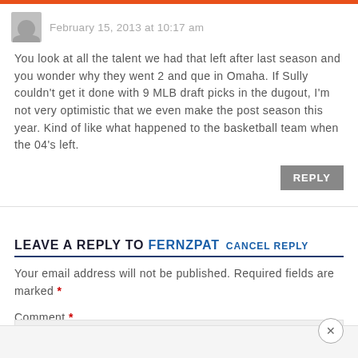February 15, 2013 at 10:17 am
You look at all the talent we had that left after last season and you wonder why they went 2 and que in Omaha. If Sully couldn't get it done with 9 MLB draft picks in the dugout, I'm not very optimistic that we even make the post season this year. Kind of like what happened to the basketball team when the 04's left.
LEAVE A REPLY TO FERNZPAT CANCEL REPLY
Your email address will not be published. Required fields are marked *
Comment *